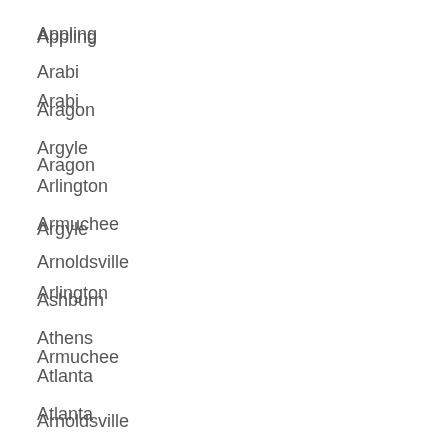Appling
Arabi
Aragon
Argyle
Arlington
Armuchee
Arnoldsville
Ashburn
Athens
Atlanta
Atlanta